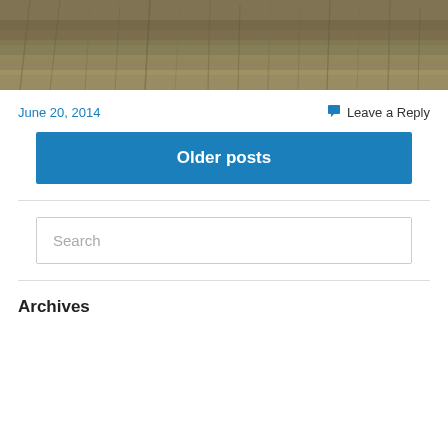[Figure (photo): Cropped bottom portion of a photo showing dry grass/scrubland terrain with muted yellow-green and brown tones]
June 20, 2014    💬 Leave a Reply
Older posts
Search
Archives